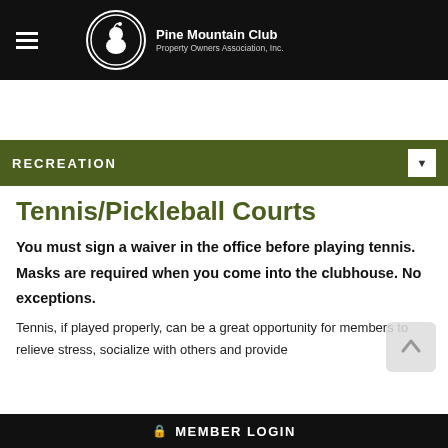Pine Mountain Club Property Owners Association, Inc.
RECREATION
Tennis/Pickleball Courts
You must sign a waiver in the office before playing tennis. Masks are required when you come into the clubhouse. No exceptions.
Tennis, if played properly, can be a great opportunity for members to relieve stress, socialize with others and provide
MEMBER LOGIN